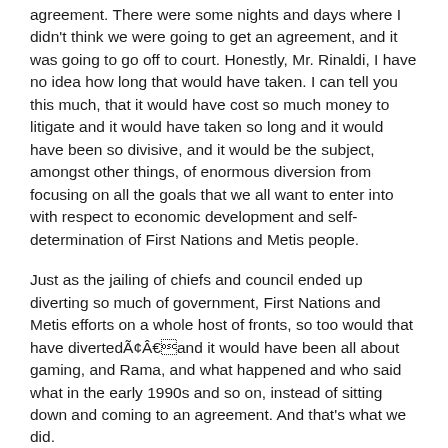agreement. There were some nights and days where I didn't think we were going to get an agreement, and it was going to go off to court. Honestly, Mr. Rinaldi, I have no idea how long that would have taken. I can tell you this much, that it would have cost so much money to litigate and it would have taken so long and it would have been so divisive, and it would be the subject, amongst other things, of enormous diversion from focusing on all the goals that we all want to enter into with respect to economic development and self-determination of First Nations and Metis people.
Just as the jailing of chiefs and council ended up diverting so much of government, First Nations and Metis efforts on a whole host of fronts, so too would that have divertedÃ¢ÂÂand it would have been all about gaming, and Rama, and what happened and who said what in the early 1990s and so on, instead of sitting down and coming to an agreement. And that's what we did.